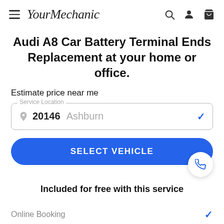YourMechanic
Audi A8 Car Battery Terminal Ends Replacement at your home or office.
Estimate price near me
Service Location 20146 Ashburn
SELECT VEHICLE
Included for free with this service
Online Booking
Mechanic comes to you